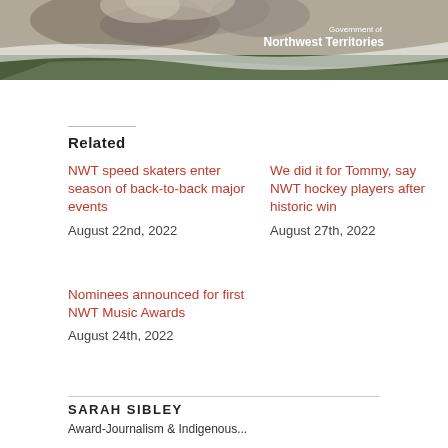[Figure (photo): Wildfire smoke rising over a forest landscape with a Government of Northwest Territories logo overlay in the top right corner]
Related
NWT speed skaters enter season of back-to-back major events
August 22nd, 2022
We did it for Tommy, say NWT hockey players after historic win
August 27th, 2022
Nominees announced for first NWT Music Awards
August 24th, 2022
SARAH SIBLEY
Award-winning Indigenous...